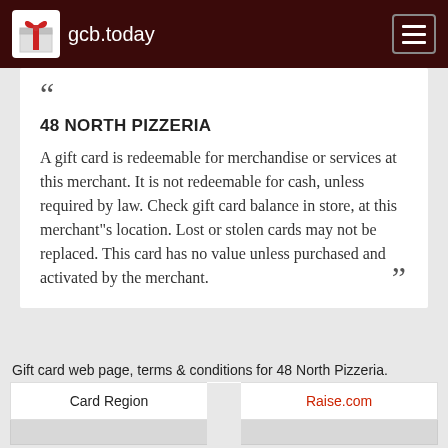gcb.today
48 NORTH PIZZERIA

A gift card is redeemable for merchandise or services at this merchant. It is not redeemable for cash, unless required by law. Check gift card balance in store, at this merchant"s location. Lost or stolen cards may not be replaced. This card has no value unless purchased and activated by the merchant.
Gift card web page, terms & conditions for 48 North Pizzeria.
| Card Region | Raise.com |
| --- | --- |
|  |  |